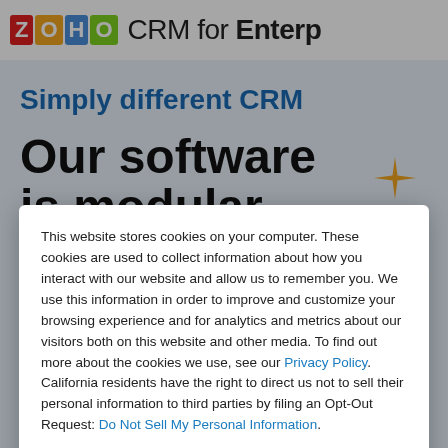[Figure (screenshot): Zoho CRM for Enterprise website background showing logo, tagline 'Simply different CRM', and partial heading 'Our software is modular' with decorative sparkle shapes on a light blue background]
This website stores cookies on your computer. These cookies are used to collect information about how you interact with our website and allow us to remember you. We use this information in order to improve and customize your browsing experience and for analytics and metrics about our visitors both on this website and other media. To find out more about the cookies we use, see our Privacy Policy. California residents have the right to direct us not to sell their personal information to third parties by filing an Opt-Out Request: Do Not Sell My Personal Info.
Accept